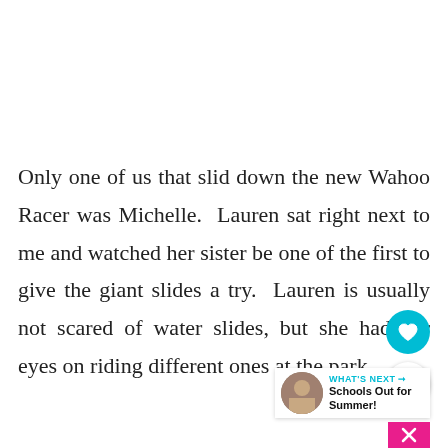Only one of us that slid down the new Wahoo Racer was Michelle.  Lauren sat right next to me and watched her sister be one of the first to give the giant slides a try.  Lauren is usually not scared of water slides, but she had her eyes on riding different ones at the park.